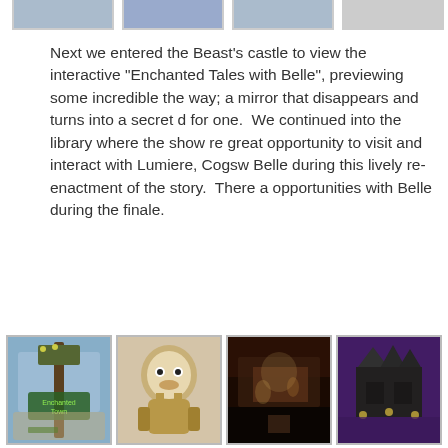[Figure (photo): Four photos partially visible at top of page showing scenes from Disney park]
Next we entered the Beast’s castle to view the interactive “Enchanted Tales with Belle”, previewing some incredible the way; a mirror that disappears and turns into a secret d for one. We continued into the library where the show re great opportunity to visit and interact with Lumiere, Cogsw Belle during this lively re-enactment of the story. There a opportunities with Belle during the finale.
[Figure (photo): Four photos at bottom: Enchanted Town sign, Cogsworth animatronic, show scene, dark atmospheric scene]